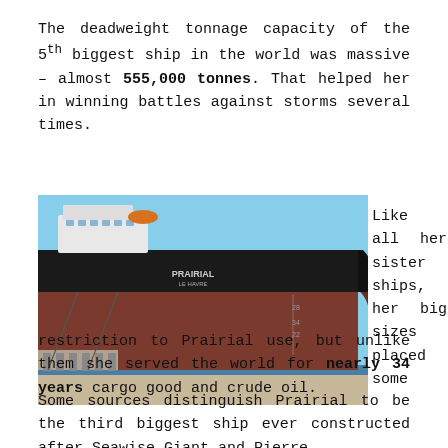The deadweight tonnage capacity of the 5th biggest ship in the world was massive – almost 555,000 tonnes. That helped her in winning battles against storms several times.
[Figure (photo): Large cargo/oil tanker ship named PRAIRIAL docked at port, showing the massive dark hull of the vessel with the bow visible, taken from a low angle.]
Like all her sister ships, her big sizes placed some
restriction to Prairial use, but unlike them she served the world for nearly 34 years cargo good and crude oil.
Some sources distinguish Prairial to be the third biggest ship ever constructed after Seawise Giant and Pierre